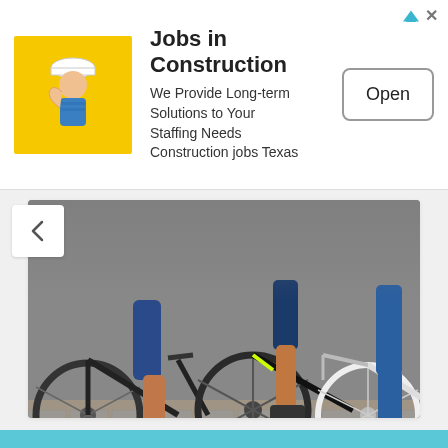[Figure (infographic): Advertisement banner: Jobs in Construction app with yellow logo showing woman flexing, Open button]
Jobs in Construction
We Provide Long-term Solutions to Your Staffing Needs Construction jobs Texas
[Figure (photo): Photo of bicycles with people's legs and feet visible, standing on cobblestone pavement]
# PEDAL BIKES
Getting Kids to Cycling
see more